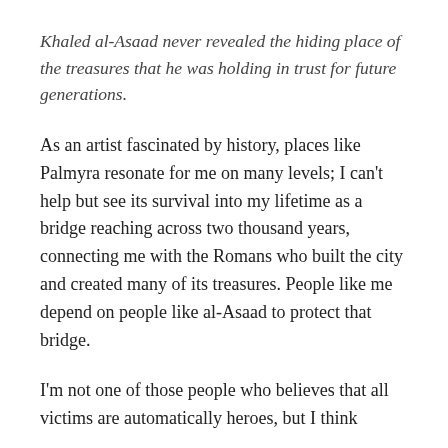Khaled al-Asaad never revealed the hiding place of the treasures that he was holding in trust for future generations.
As an artist fascinated by history, places like Palmyra resonate for me on many levels; I can't help but see its survival into my lifetime as a bridge reaching across two thousand years, connecting me with the Romans who built the city and created many of its treasures. People like me depend on people like al-Asaad to protect that bridge.
I'm not one of those people who believes that all victims are automatically heroes, but I think